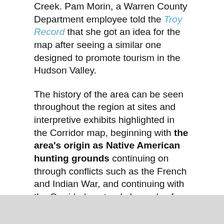Creek. Pam Morin, a Warren County Department employee told the Troy Record that she got an idea for the map after seeing a similar one designed to promote tourism in the Hudson Valley.
The history of the area can be seen throughout the region at sites and interpretive exhibits highlighted in the Corridor map, beginning with the area's origin as Native American hunting grounds continuing on through conflicts such as the French and Indian War, and continuing with the Corridor's natural channels of commerce. From soldiers utilizing trail systems, to a rail system developed by W.C. Durant in the late 19th century, you'll follow a natural path that has led